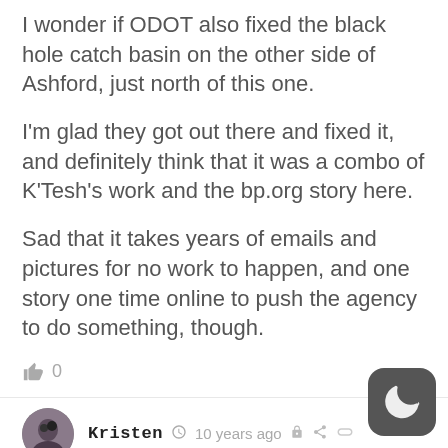I wonder if ODOT also fixed the black hole catch basin on the other side of Ashford, just north of this one.
I'm glad they got out there and fixed it, and definitely think that it was a combo of K'Tesh's work and the bp.org story here.
Sad that it takes years of emails and pictures for no work to happen, and one story one time online to push the agency to do something, though.
👍 0
[Figure (photo): User avatar photo of Kristen, a circular profile photo]
Kristen  🕐 10 years ago  🔒  < 🔗
(BTW, JMaus, this is in Tigard, not